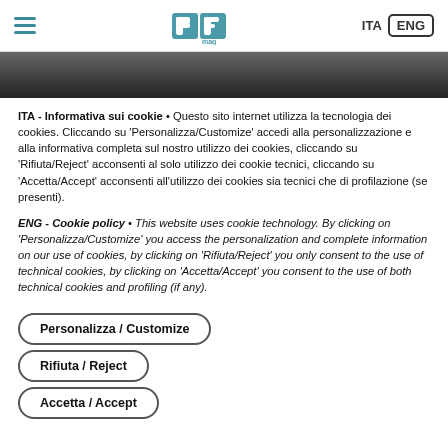PF mag | ITA | ENG
[Figure (photo): Dark hero image strip at top of page]
ITA - Informativa sui cookie • Questo sito internet utilizza la tecnologia dei cookies. Cliccando su 'Personalizza/Customize' accedi alla personalizzazione e alla informativa completa sul nostro utilizzo dei cookies, cliccando su 'Rifiuta/Reject' acconsenti al solo utilizzo dei cookie tecnici, cliccando su 'Accetta/Accept' acconsenti all'utilizzo dei cookies sia tecnici che di profilazione (se presenti).
ENG - Cookie policy • This website uses cookie technology. By clicking on 'Personalizza/Customize' you access the personalization and complete information on our use of cookies, by clicking on 'Rifiuta/Reject' you only consent to the use of technical cookies, by clicking on 'Accetta/Accept' you consent to the use of both technical cookies and profiling (if any).
Personalizza / Customize
Rifiuta / Reject
Accetta / Accept